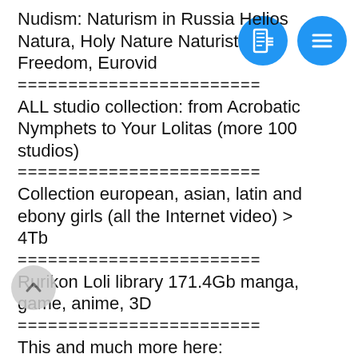Nudism: Naturism in Russia Helios Natura, Holy Nature Naturist Freedom, Eurovid
========================
ALL studio collection: from Acrobatic Nymphets to Your Lolitas (more 100 studios)
========================
Collection european, asian, latin and ebony girls (all the Internet video) > 4Tb
========================
Rurikon Loli library 171.4Gb manga, game, anime, 3D
========================
This and much more here:
or --> gg.gg/ezl52
or --> xtl.jp/?Pf
or --> xor.tw/4pt0y
or --> lc.cx/mn3Z
or --> cutt.us/e4Gij
or --> gg.gg/fzk4d
or --> v.ht/Y7lw
[Figure (other): Two blue circular buttons: one with a phone/contacts icon, one with a hamburger menu icon]
[Figure (other): Gray circular scroll-to-top button with upward chevron]